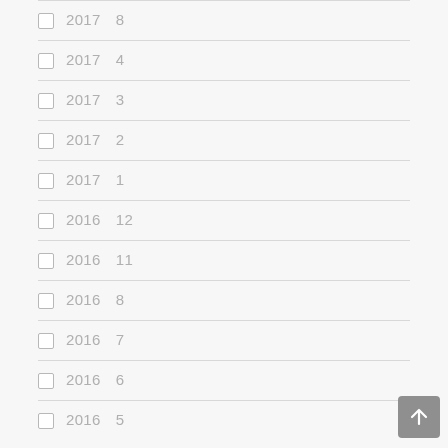2017  8
2017  4
2017  3
2017  2
2017  1
2016  12
2016  11
2016  8
2016  7
2016  6
2016  5